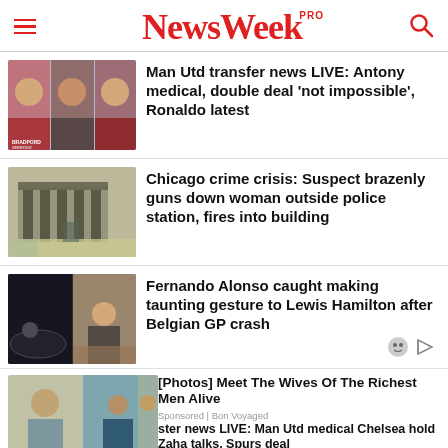NewsWeek PRO
[Figure (photo): Three soccer players headshots — transfer news thumbnail]
Man Utd transfer news LIVE: Antony medical, double deal 'not impossible', Ronaldo latest
[Figure (photo): Chicago police station building exterior]
Chicago crime crisis: Suspect brazenly guns down woman outside police station, fires into building
[Figure (photo): Fernando Alonso and Lewis Hamilton racing — Belgian GP]
Fernando Alonso caught making taunting gesture to Lewis Hamilton after Belgian GP crash
[Figure (photo): Overlapping news thumbnails at bottom]
[Photos] Meet The Wives Of The Richest Men Alive
Sponsored | Bon Voyaged
ster news LIVE: Man Utd medical Chelsea hold Zaha talks, Spurs deal